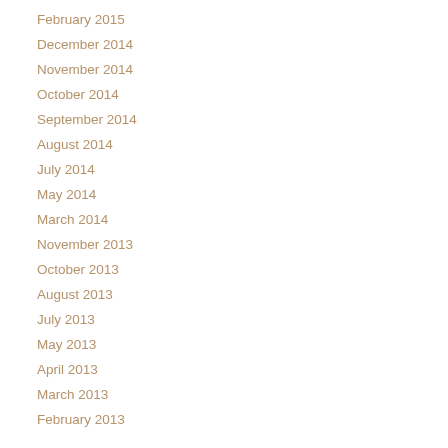February 2015
December 2014
November 2014
October 2014
September 2014
August 2014
July 2014
May 2014
March 2014
November 2013
October 2013
August 2013
July 2013
May 2013
April 2013
March 2013
February 2013
CATEGORIES
All